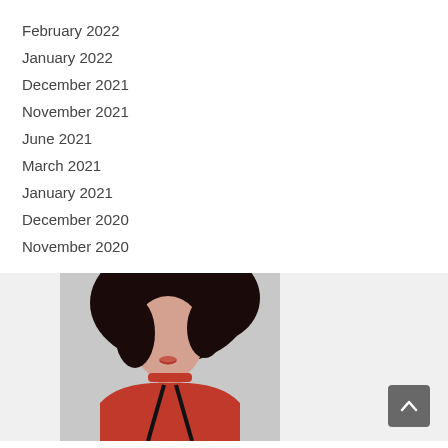February 2022
January 2022
December 2021
November 2021
June 2021
March 2021
January 2021
December 2020
November 2020
[Figure (photo): Woman in red outfit with dark hair, partial upper body shot]